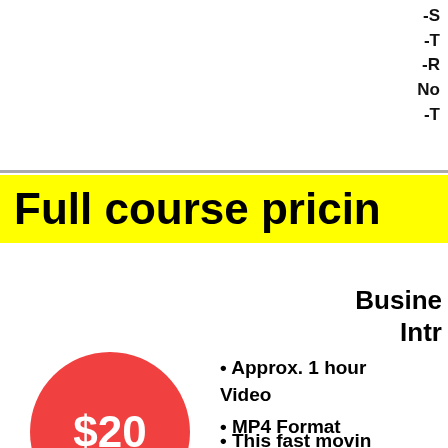-S
-T
-R
No
-T
Full course pricing
Business
Intr
[Figure (infographic): Red circle with $20 price label]
• Approx. 1 hour Video
• MP4 Format
• This fast movin